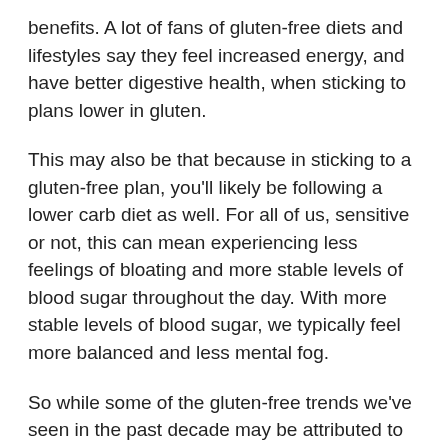benefits. A lot of fans of gluten-free diets and lifestyles say they feel increased energy, and have better digestive health, when sticking to plans lower in gluten.
This may also be that because in sticking to a gluten-free plan, you'll likely be following a lower carb diet as well. For all of us, sensitive or not, this can mean experiencing less feelings of bloating and more stable levels of blood sugar throughout the day. With more stable levels of blood sugar, we typically feel more balanced and less mental fog.
So while some of the gluten-free trends we've seen in the past decade may be attributed to social media or general marketing “hype,” the payoff is definitely real for those who follow lower carb and gluten-free